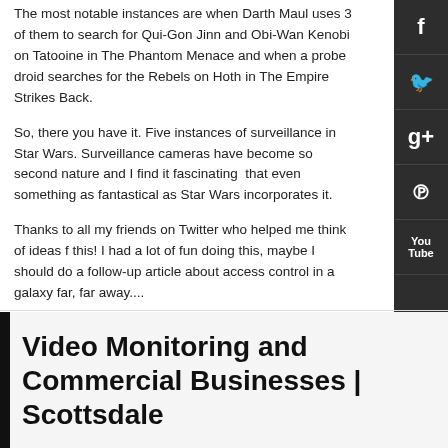The most notable instances are when Darth Maul uses 3 of them to search for Qui-Gon Jinn and Obi-Wan Kenobi on Tatooine in The Phantom Menace and when a probe droid searches for the Rebels on Hoth in The Empire Strikes Back.
So, there you have it. Five instances of surveillance in Star Wars. Surveillance cameras have become so second nature and I find it fascinating that even something as fantastical as Star Wars incorporates it.
Thanks to all my friends on Twitter who helped me think of ideas for this! I had a lot of fun doing this, maybe I should do a follow-up article about access control in a galaxy far, far away....
(All images property of Lucasfilm.)
Tweet
Video Monitoring and Commercial Businesses | Scottsdale